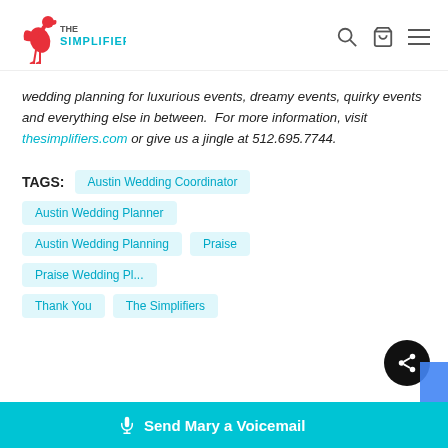The Simplifiers — navigation bar with logo, search, cart, and menu icons
wedding planning for luxurious events, dreamy events, quirky events and everything else in between.  For more information, visit thesimplifiers.com or give us a jingle at 512.695.7744.
TAGS:
Austin Wedding Coordinator
Austin Wedding Planner
Austin Wedding Planning
Praise
Praise Wedding P...
Thank You
The Simplifiers